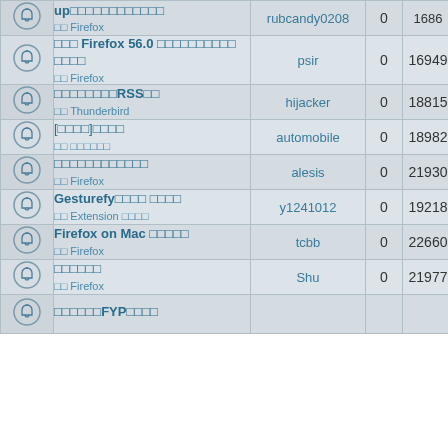|  | Topic | User | Replies | Views |
| --- | --- | --- | --- | --- |
| 🔔 | up□□□□□□□□□□□□
□□ Firefox | rubcandy0208 | 0 | 1686□ |
| 🔔 | □□□ Firefox 56.0 □□□□□□□□□□ □□□□
□□ Firefox | psir | 0 | 16949 |
| 🔔 | □□□□□□□□RSS□□
□□ Thunderbird | hijacker | 0 | 18815 |
| 🔔 | [□□□□]□□□□
□□ □□□□□□ | automobile | 0 | 18982 |
| 🔔 | □□□□□□□□□□□□
□□ Firefox | alesis | 0 | 21930 |
| 🔔 | Gesturefy□□□□ □□□□
□□ Extension □□□□ | y1241012 | 0 | 19218 |
| 🔔 | Firefox on Mac □□□□□
□□ Firefox | tcbb | 0 | 22660 |
| 🔔 | □□□□□□
□□ Firefox | Shu | 0 | 21977 |
| 🔔 | □□□□□□FYP□□□□ |  |  |  |